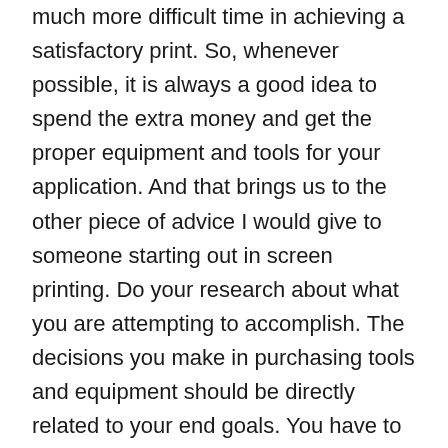much more difficult time in achieving a satisfactory print. So, whenever possible, it is always a good idea to spend the extra money and get the proper equipment and tools for your application. And that brings us to the other piece of advice I would give to someone starting out in screen printing. Do your research about what you are attempting to accomplish. The decisions you make in purchasing tools and equipment should be directly related to your end goals. You have to consider very seriously what you want to achieve and spend your money wisely based on that. Try not to make purchase decisions based solely on financial considerations. Screen printing commercially is a numbers game. The faster you can print a high quality product, the more money you can make per hour. That also means you can be more competitive as well and get more work. Having the right tools and good working